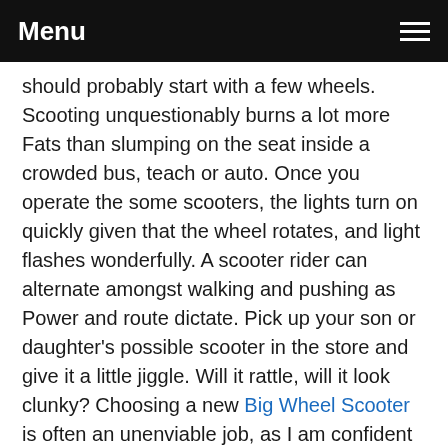Menu
should probably start with a few wheels. Scooting unquestionably burns a lot more Fats than slumping on the seat inside a crowded bus, teach or auto. Once you operate the some scooters, the lights turn on quickly given that the wheel rotates, and light flashes wonderfully. A scooter rider can alternate amongst walking and pushing as Power and route dictate. Pick up your son or daughter's possible scooter in the store and give it a little jiggle. Will it rattle, will it look clunky? Choosing a new Big Wheel Scooter is often an unenviable job, as I am confident you may testify to.Smaller kids and people who've by no means ridden a scooter or a motorcycle must most likely get started with 3 wheels. Like Driving a scooter, your son or